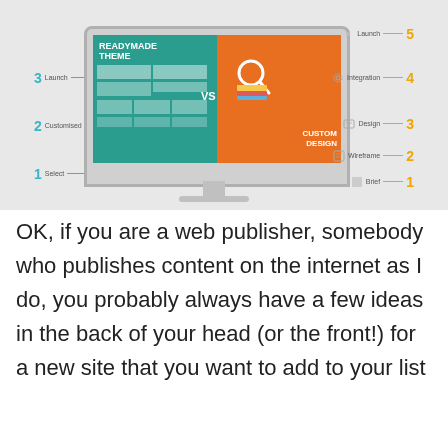[Figure (infographic): Infographic comparing 'Readymade Theme' vs 'Custom Design' shown on a computer monitor. Left side of screen is teal with table grid and steps 1-3 (Select, Customised, Launch) in cyan. Right side is orange with a magnifying glass and 'Custom Design' text, steps 1-5 (Brief, Wireframe, Design, Integration, Launch) in gold on the right.]
OK, if you are a web publisher, somebody who publishes content on the internet as I do, you probably always have a few ideas in the back of your head (or the front!) for a new site that you want to add to your list